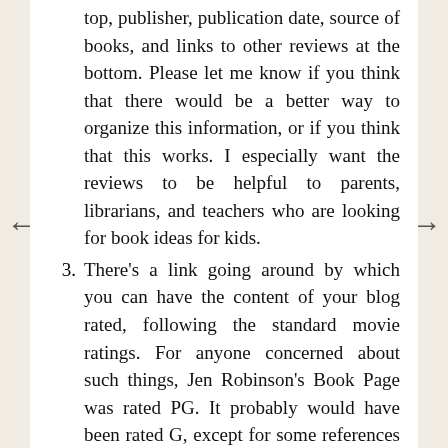top, publisher, publication date, source of books, and links to other reviews at the bottom. Please let me know if you think that there would be a better way to organize this information, or if you think that this works. I especially want the reviews to be helpful to parents, librarians, and teachers who are looking for book ideas for kids.
3. There's a link going around by which you can have the content of your blog rated, following the standard movie ratings. For anyone concerned about such things, Jen Robinson's Book Page was rated PG. It probably would have been rated G, except for some references to "dangerous", and one reference to